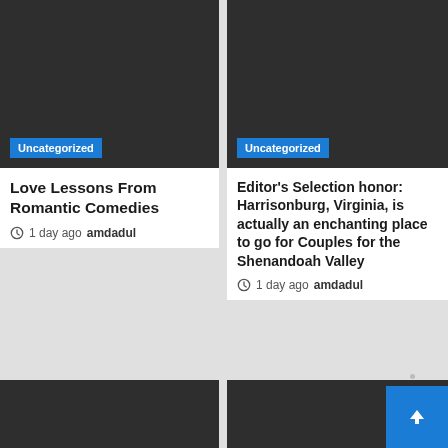[Figure (photo): Dark image card with Uncategorized badge, left top]
Uncategorized
Love Lessons From Romantic Comedies
1 day ago  amdadul
[Figure (photo): Dark image card with Uncategorized badge, right top]
Uncategorized
Editor's Selection honor: Harrisonburg, Virginia, is actually an enchanting place to go for Couples for the Shenandoah Valley
1 day ago  amdadul
[Figure (photo): Dark image card, bottom left, partially visible]
[Figure (photo): Dark image card, bottom right, partially visible with back-to-top button]